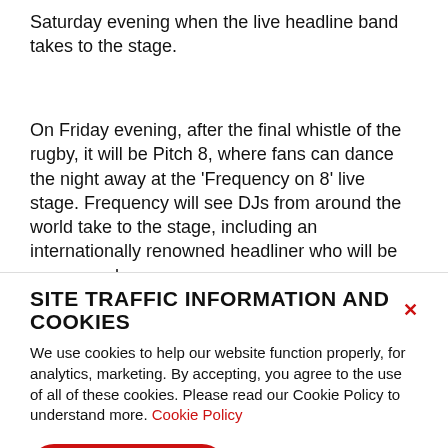Saturday evening when the live headline band takes to the stage.
On Friday evening, after the final whistle of the rugby, it will be Pitch 8, where fans can dance the night away at the 'Frequency on 8' live stage. Frequency will see DJs from around the world take to the stage, including an internationally renowned headliner who will be announced
SITE TRAFFIC INFORMATION AND COOKIES
We use cookies to help our website function properly, for analytics, marketing. By accepting, you agree to the use of all of these cookies. Please read our Cookie Policy to understand more. Cookie Policy
ACCEPT